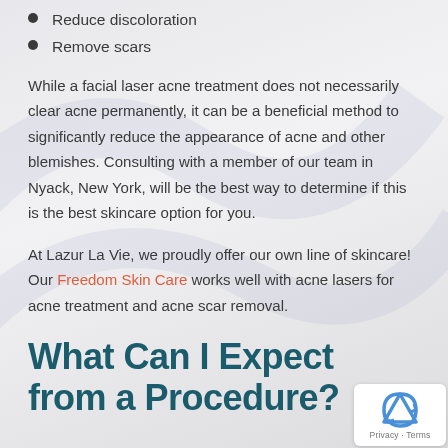Reduce discoloration
Remove scars
While a facial laser acne treatment does not necessarily clear acne permanently, it can be a beneficial method to significantly reduce the appearance of acne and other blemishes. Consulting with a member of our team in Nyack, New York, will be the best way to determine if this is the best skincare option for you.
At Lazur La Vie, we proudly offer our own line of skincare! Our Freedom Skin Care works well with acne lasers for acne treatment and acne scar removal.
What Can I Expect from a Procedure?